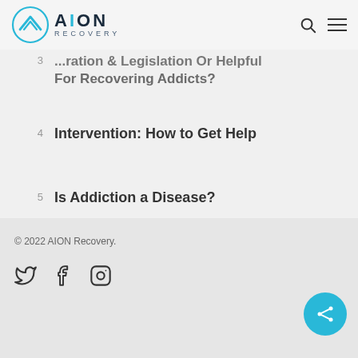AION RECOVERY
3 — ...ration & Legislation Or Helpful For Recovering Addicts?
4 — Intervention: How to Get Help
5 — Is Addiction a Disease?
6 — Learning to Let Go: A Parent's Guide to Addiction
© 2022 AION Recovery.